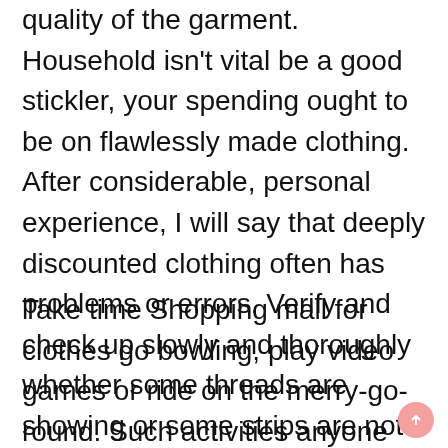quality of the garment. Household isn't vital be a good stickler, your spending ought to be on flawlessly made clothing. After considerable, personal experience, I will say that deeply discounted clothing often has problems or errors. Verify and check up slowly and thoroughly whether some threads are showing or some strips are not sewn in reality. This ensures you won't lose all sorts of things. Besides, as a consumer it is your responsibility.
Take time Shopping mall for clothes go bowling, play video games or ride on the merry-go-round. Such activities anyone with a possibility to interact alongside with your date and search to know one another better.